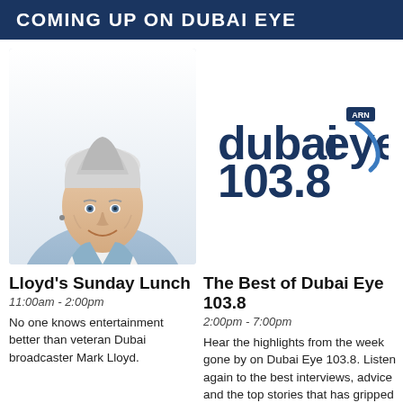COMING UP ON DUBAI EYE
[Figure (photo): Portrait photo of a man with silver/white styled hair, wearing a light blue blazer over a white shirt, smiling at the camera]
[Figure (logo): Dubai Eye 103.8 radio station logo with ARN badge]
Lloyd's Sunday Lunch
11:00am - 2:00pm
No one knows entertainment better than veteran Dubai broadcaster Mark Lloyd.
The Best of Dubai Eye 103.8
2:00pm - 7:00pm
Hear the highlights from the week gone by on Dubai Eye 103.8. Listen again to the best interviews, advice and the top stories that has gripped our conversation this week.